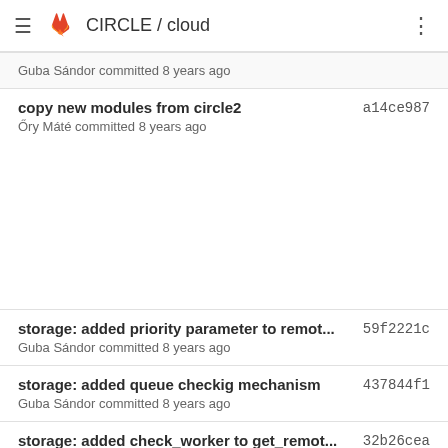CIRCLE / cloud
Guba Sándor committed 8 years ago
copy new modules from circle2
Őry Máté committed 8 years ago
a14ce987
storage: added priority parameter to remot...
Guba Sándor committed 8 years ago
59f2221c
storage: added queue checkig mechanism
Guba Sándor committed 8 years ago
437844f1
storage: added check_worker to get_remot...
Guba Sándor committed 8 years ago
32b26cea
storage: refactor models
Guba Sándor committed 8 years ago
d1b95123